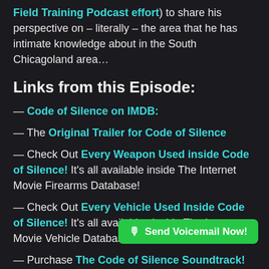Field Training Podcast effort) to share his perspective on – literally – the area that he has intimate knowledge about in the South Chicagoland area…
Links from this Episode:
— Code of Silence on IMDB:
— The Original Trailer for Code of Silence
— Check Out Every Weapon Used inside Code of Silence! It's all available inside The Internet Movie Firearms Database!
— Check Out Every Vehicle Used Inside Code of Silence! It's all available vinside The Internet Movie Vehicle Database!—
— Purchase The Code of Silence Soundtrack!